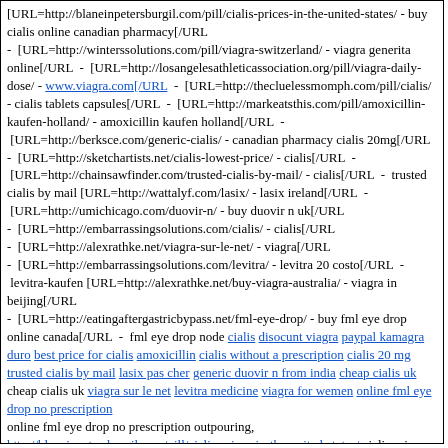[URL=http://blaneinpetersburgil.com/pill/cialis-prices-in-the-united-states/ - buy cialis online canadian pharmacy[/URL - [URL=http://winterssolutions.com/pill/viagra-switzerland/ - viagra generita online[/URL - [URL=http://losangelesathleticassociation.org/pill/viagra-daily-dose/ - www.viagra.com[/URL - [URL=http://thecluelessmomph.com/pill/cialis/ - cialis tablets capsules[/URL - [URL=http://markeatsthis.com/pill/amoxicillin-kaufen-holland/ - amoxicillin kaufen holland[/URL - [URL=http://berksce.com/generic-cialis/ - canadian pharmacy cialis 20mg[/URL - [URL=http://sketchartists.net/cialis-lowest-price/ - cialis[/URL - [URL=http://chainsawfinder.com/trusted-cialis-by-mail/ - cialis[/URL - trusted cialis by mail [URL=http://wattalyf.com/lasix/ - lasix ireland[/URL - [URL=http://umichicago.com/duovir-n/ - buy duovir n uk[/URL - [URL=http://embarrassingsolutions.com/cialis/ - cialis[/URL - [URL=http://alexrathke.net/viagra-sur-le-net/ - viagra[/URL - [URL=http://embarrassingsolutions.com/levitra/ - levitra 20 costo[/URL - levitra-kaufen [URL=http://alexrathke.net/buy-viagra-australia/ - viagra in beijing[/URL - [URL=http://eatingaftergastricbypass.net/fml-eye-drop/ - buy fml eye drop online canada[/URL - fml eye drop node cialis disocunt viagra paypal kamagra duro best price for cialis amoxicillin cialis without a prescription cialis 20 mg trusted cialis by mail lasix pas cher generic duovir n from india cheap cialis uk cheap cialis uk viagra sur le net levitra medicine viagra for wemen online fml eye drop no prescription online fml eye drop no prescription outpouring, http://blaneinpetersburgil.com/pill/cialis-prices-in-the-united-states/ cialis prices in the united states http://winterssolutions.com/pill/viagra-switzerland/ disocunt viagra http://losangelesathleticassociation.org/pill/viagra-daily-dose/ viagra http://thecluelessmomph.com/pill/cialis/ cialis for sale in canada http://markeatsthis.com/pill/amoxicillin-kaufen-holland/ amoxicillin from canada online http://berksce.com/generic-cialis/ buy cialis http://sketchartists.net/cialis-lowest-price/ cialis 20 mg http://chainsawfinder.com/trusted-cialis-by-mail/ trusted cialis by mail http://wattalyf.com/lasix/ lasix pas cher lasix pas cher http://umichicago.com/duovir-n/ duovir n without pres